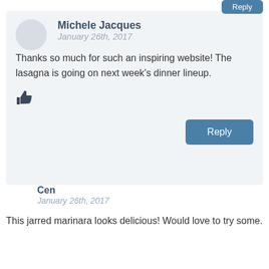Michele Jacques
January 26th, 2017
Thanks so much for such an inspiring website! The lasagna is going on next week's dinner lineup.
👍
Reply
Cen
January 26th, 2017
This jarred marinara looks delicious! Would love to try some.